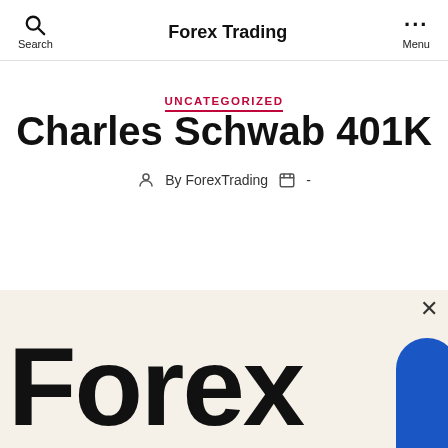Forex Trading
UNCATEGORIZED
Charles Schwab 401K
By ForexTrading  -
[Figure (logo): Forex Trading logo banner with large bold 'Forex' text on a beige background with a partial blue circular element on the right and a close (×) button in the top right corner.]